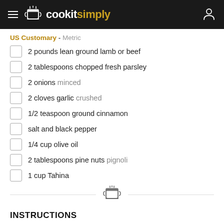cookitsimply
US Customary - Metric
2 pounds lean ground lamb or beef
2 tablespoons chopped fresh parsley
2 onions minced
2 cloves garlic crushed
1/2 teaspoon ground cinnamon
salt and black pepper
1/4 cup olive oil
2 tablespoons pine nuts pignoli
1 cup Tahina
INSTRUCTIONS
In a large bowl, mix the ground meat with the parsley, onions, garlic, and cinnamon.
Chop the mixture again or puree it in a food...